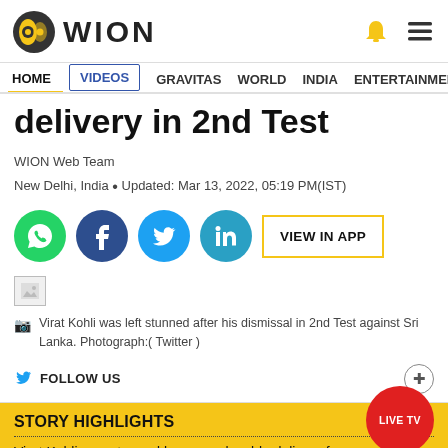WION
HOME VIDEOS GRAVITAS WORLD INDIA ENTERTAINMENT SPORTS
delivery in 2nd Test
WION Web Team
New Delhi, India • Updated: Mar 13, 2022, 05:19 PM(IST)
[Figure (infographic): Social sharing buttons: WhatsApp (green), Facebook (dark blue), Twitter (light blue), LinkedIn (teal), and VIEW IN APP button]
[Figure (photo): Broken image placeholder]
Virat Kohli was left stunned after his dismissal in 2nd Test against Sri Lanka. Photograph:( Twitter )
FOLLOW US
LIVE TV
STORY HIGHLIGHTS
Virat Kohli was stunned by an unplayable delivery from